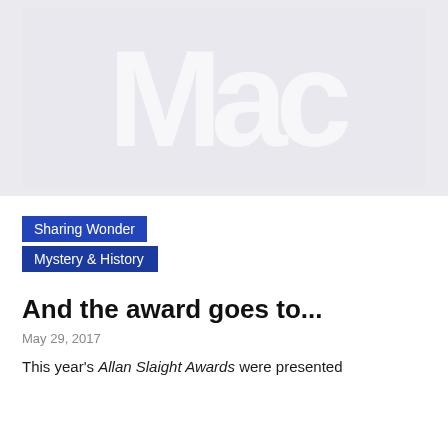[Figure (photo): A faded/blurred photograph, light grey background with indistinct white shapes, possibly people or silhouettes]
Sharing Wonder
Mystery & History
And the award goes to...
May 29, 2017
This year's Allan Slaight Awards were presented